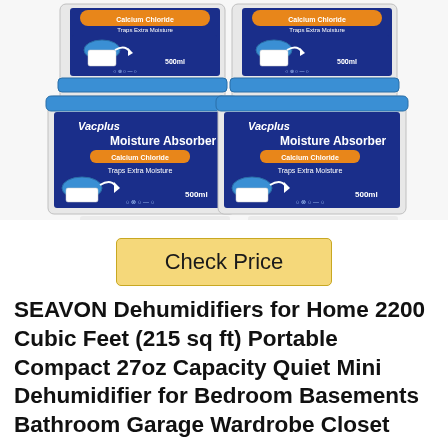[Figure (photo): Four Vacplus Moisture Absorber containers with Calcium Chloride, labeled 'Traps Extra Moisture' and '500ml', arranged in a 2x2 grid on a white background.]
Check Price
SEAVON Dehumidifiers for Home 2200 Cubic Feet (215 sq ft) Portable Compact 27oz Capacity Quiet Mini Dehumidifier for Bedroom Basements Bathroom Garage Wardrobe Closet